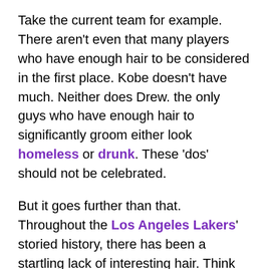Take the current team for example. There aren't even that many players who have enough hair to be considered in the first place. Kobe doesn't have much. Neither does Drew. the only guys who have enough hair to significantly groom either look homeless or drunk. These 'dos' should not be celebrated.
But it goes further than that. Throughout the Los Angeles Lakers' storied history, there has been a startling lack of interesting hair. Think about the Lakers superstars throughout the ages. Kobe has dabbled with the 'fro, and has a couple of attempts at a decent goatee, but nothing special. Shaq? No hair. Magic? No hair. Worthy? A respectable stubble. Kareem? No hair. Hell, even in the 70s, where awesome facial hair reigned supreme, Jerry West and Elgin Baylor never